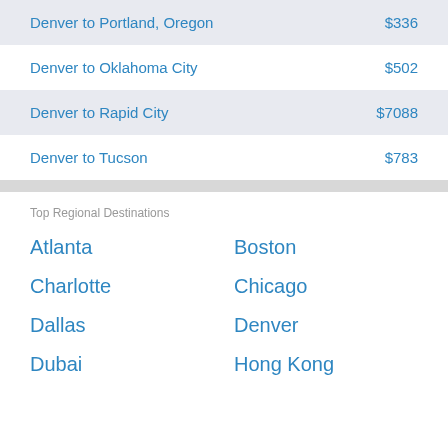Denver to Portland, Oregon  $336
Denver to Oklahoma City  $502
Denver to Rapid City  $7088
Denver to Tucson  $783
Top Regional Destinations
Atlanta
Boston
Charlotte
Chicago
Dallas
Denver
Dubai
Hong Kong